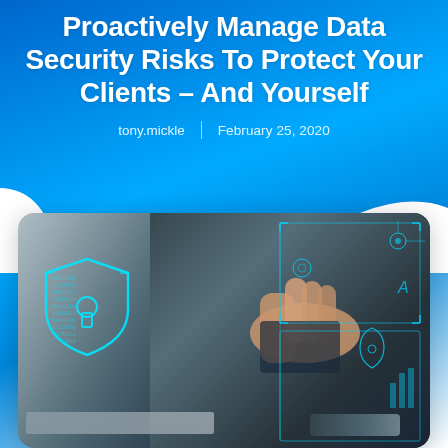Proactively Manage Data Security Risks To Protect Your Clients – And Yourself
tony.mickle  |  February 25, 2020
[Figure (photo): A person's hand touching a digital interface with a glowing cyan security shield icon overlaid on a laptop screen, phone visible at the bottom, representing cybersecurity and data protection.]